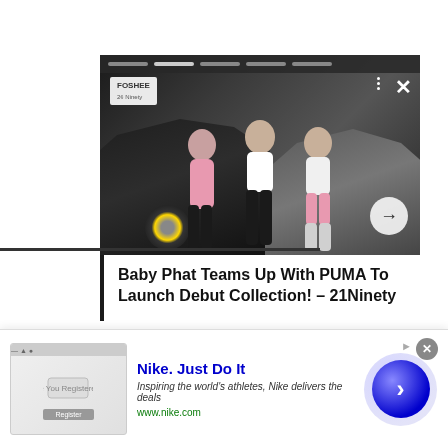[Figure (screenshot): A social media card/article preview showing three women in sportswear posing in front of luxury sports cars. The card has navigation dots at top, a logo in the top-left corner, a three-dot menu, close button, and a forward arrow. Below the image is the article title text.]
Baby Phat Teams Up With PUMA To Launch Debut Collection! - 21Ninety
[Figure (screenshot): A Nike advertisement banner at the bottom of the page. Shows Nike brand name in blue, tagline 'Inspiring the world's athletes, Nike delivers the deals', URL www.nike.com in green, a small ad thumbnail on the left, a close button (X) in the top-right, and a blue circular arrow button on the right.]